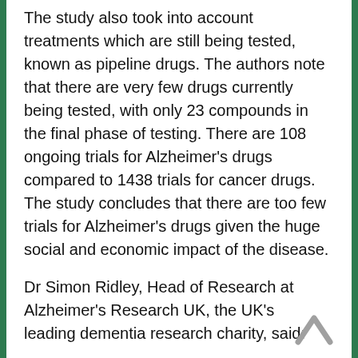The study also took into account treatments which are still being tested, known as pipeline drugs. The authors note that there are very few drugs currently being tested, with only 23 compounds in the final phase of testing. There are 108 ongoing trials for Alzheimer's drugs compared to 1438 trials for cancer drugs. The study concludes that there are too few trials for Alzheimer's drugs given the huge social and economic impact of the disease.
Dr Simon Ridley, Head of Research at Alzheimer's Research UK, the UK's leading dementia research charity, said:
“This study adds to other analyses showing high levels of failure of trials for Alzheimer's drugs. Whilst the failure rate of clinical trials for cancer is also quite high, at 81%, the 99.6% failure rate in Alzheimer's disease trials is especially troubling. Alzheimer's